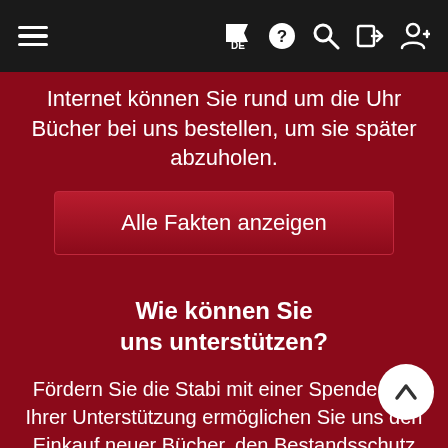Navigation bar with hamburger menu, flag/DE, help, search, login, register icons
Internet können Sie rund um die Uhr Bücher bei uns bestellen, um sie später abzuholen.
Alle Fakten anzeigen
Wie können Sie uns unterstützen?
Fördern Sie die Stabi mit einer Spende. Mit Ihrer Unterstützung ermöglichen Sie uns den Einkauf neuer Bücher, den Bestandsschutz unserer Archivbestände und die Restaurierung kostbarer Bücher.